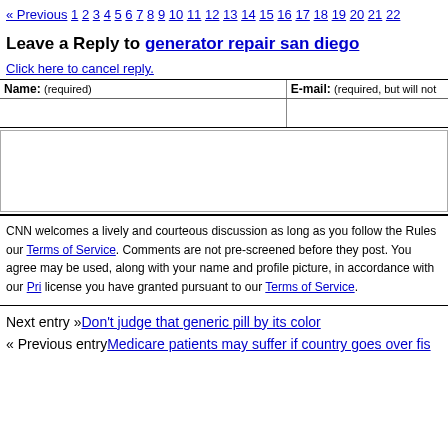« Previous 1 2 3 4 5 6 7 8 9 10 11 12 13 14 15 16 17 18 19 20 21 22
Leave a Reply to generator repair san diego
Click here to cancel reply.
| Name: (required) | E-mail: (required, but will not) |
| --- | --- |
|  |  |
CNN welcomes a lively and courteous discussion as long as you follow the Rules our Terms of Service. Comments are not pre-screened before they post. You agree may be used, along with your name and profile picture, in accordance with our Pri license you have granted pursuant to our Terms of Service.
Next entry »Don't judge that generic pill by its color
« Previous entryMedicare patients may suffer if country goes over fis